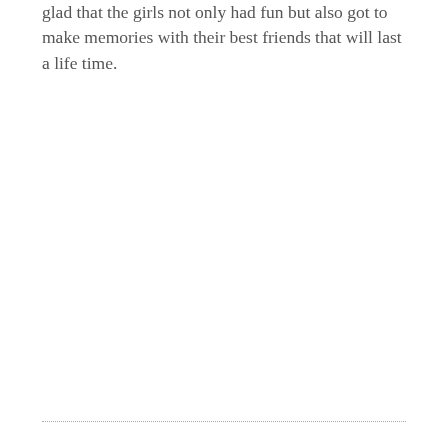glad that the girls not only had fun but also got to make memories with their best friends that will last a life time.
........................................................................................................................